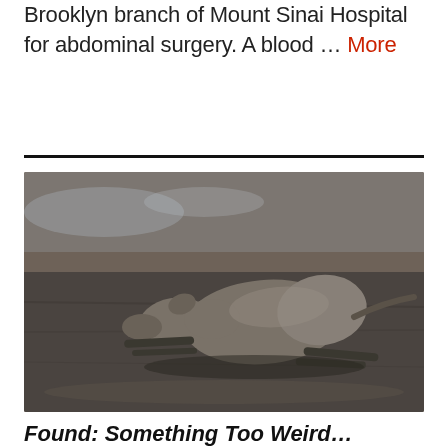Brooklyn branch of Mount Sinai Hospital for abdominal surgery. A blood … More
[Figure (photo): A dead or injured animal (appears to be a dog or similar quadruped) lying on a dark sandy beach or road surface, viewed from the side. The animal is lying flat with legs extended. The background shows a wet or dark sandy surface with faint water/waves visible at the top.]
Found: Something Too Weird...